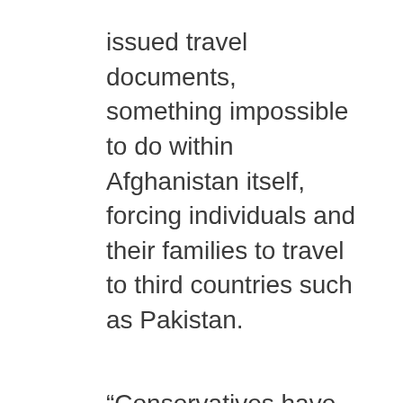issued travel documents, something impossible to do within Afghanistan itself, forcing individuals and their families to travel to third countries such as Pakistan.
“Conservatives have heard firsthand from those fleeing Afghanistan at the Special Committee the value a single-use travel document would have. The ability to provide travel documents indicating the intention to travel to Canada while travelling through third-